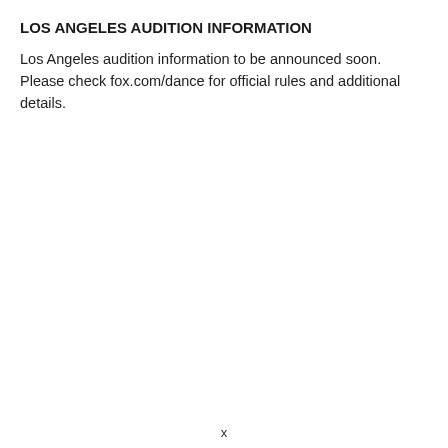LOS ANGELES AUDITION INFORMATION
Los Angeles audition information to be announced soon. Please check fox.com/dance for official rules and additional details.
x